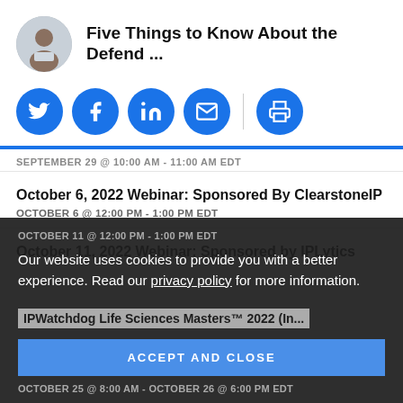Five Things to Know About the Defend ...
[Figure (infographic): Row of social sharing icon buttons: Twitter, Facebook, LinkedIn, Email, Print — circular blue buttons with white icons, separated by a vertical divider before the print icon]
SEPTEMBER 29 @ 10:00 AM - 11:00 AM EDT
October 6, 2022 Webinar: Sponsored By ClearstoneIP
OCTOBER 6 @ 12:00 PM - 1:00 PM EDT
October 11, 2022 Webinar: Sponsored by IPLytics
OCTOBER 11 @ 12:00 PM - 1:00 PM EDT
Our website uses cookies to provide you with a better experience. Read our privacy policy for more information.
IPWatchdog Life Sciences Masters™ 2022 (In ...
ACCEPT AND CLOSE
OCTOBER 25 @ 8:00 AM - OCTOBER 26 @ 6:00 PM EDT